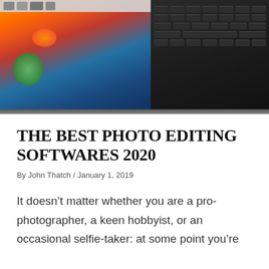[Figure (photo): Laptop computer with a colorful flower/orange screen and black keyboard, viewed from above at an angle]
THE BEST PHOTO EDITING SOFTWARES 2020
By John Thatch / January 1, 2019
It doesn’t matter whether you are a pro-photographer, a keen hobbyist, or an occasional selfie-taker: at some point you’re